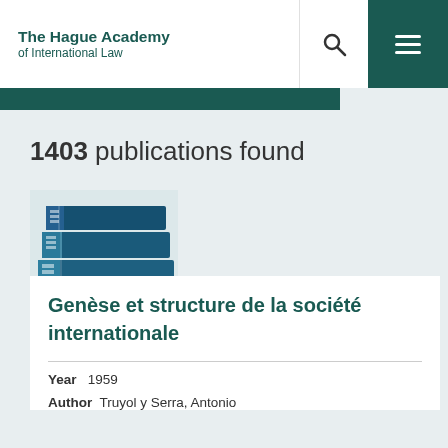The Hague Academy of International Law
1403 publications found
[Figure (photo): Stack of blue hardcover law books]
Genèse et structure de la société internationale
Year   1959
Author   Truyol y Serra, Antonio